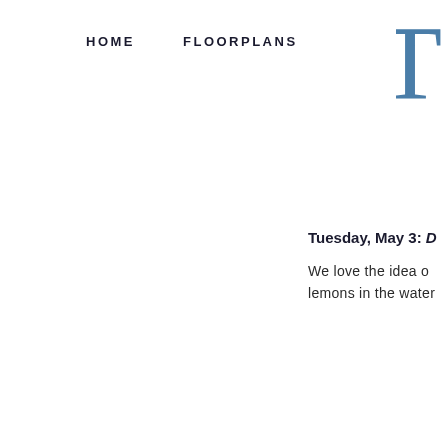HOME    FLOORPLANS
[Figure (logo): Partial letter T in steel blue serif font, cropped at right edge]
Tuesday, May 3: D
We love the idea o lemons in the water